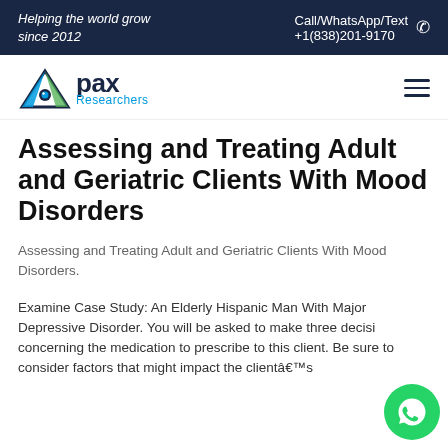Helping the world grow since 2012 | Call/WhatsApp/Text +1(838)201-9170
[Figure (logo): Apax Researchers logo with triangular icon and blue text]
Assessing and Treating Adult and Geriatric Clients With Mood Disorders
Assessing and Treating Adult and Geriatric Clients With Mood Disorders.
Examine Case Study: An Elderly Hispanic Man With Major Depressive Disorder. You will be asked to make three decisions concerning the medication to prescribe to this client. Be sure to consider factors that might impact the clientâ€™s